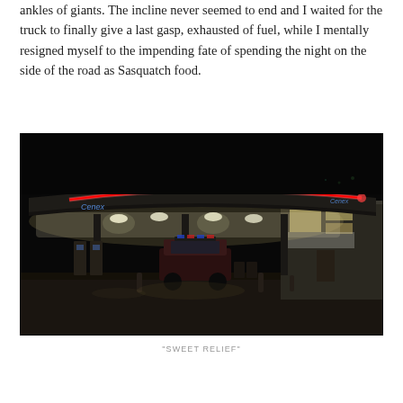ankles of giants. The incline never seemed to end and I waited for the truck to finally give a last gasp, exhausted of fuel, while I mentally resigned myself to the impending fate of spending the night on the side of the road as Sasquatch food.
[Figure (photo): Night photograph of a gas station with a large illuminated canopy. A red neon strip runs along the curved edge of the canopy roof. Bright overhead lights illuminate the forecourt. A vehicle with a light bar on top is parked in the center. The station building is visible on the right side. The scene is set in darkness.]
"SWEET RELIEF"